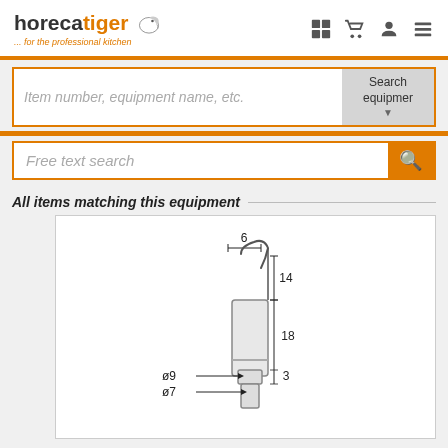[Figure (logo): Horecatiger logo with tiger illustration and text '...for the professional kitchen']
Item number, equipment name, etc.
Search equipmer
Free text search
All items matching this equipment
[Figure (engineering-diagram): Technical engineering diagram of a probe or nozzle component with dimension markings: width=6, heights 14 and 18, diameter measurements ø9 and ø7, and dimension 3]